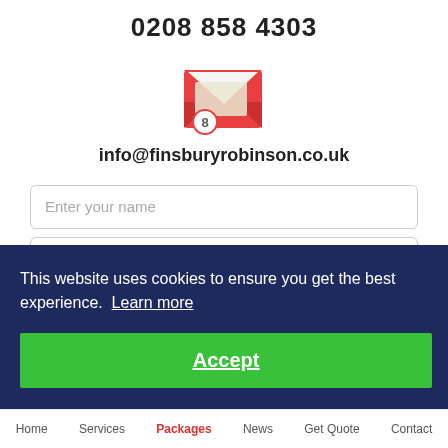0208 858 4303
[Figure (illustration): Red email envelope icon with a notification badge showing number 8]
info@finsburyrobinson.co.uk
Enter your name
Enter your Email or Telephone
This website uses cookies to ensure you get the best experience. Learn more
Accept
Home  Services  Packages  News  Get Quote  Contact